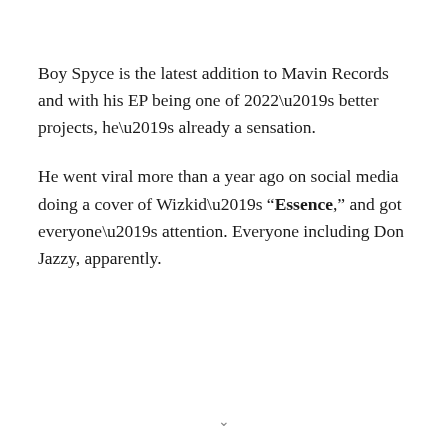Boy Spyce is the latest addition to Mavin Records and with his EP being one of 2022’s better projects, he’s already a sensation.
He went viral more than a year ago on social media doing a cover of Wizkid’s “Essence,” and got everyone’s attention. Everyone including Don Jazzy, apparently.